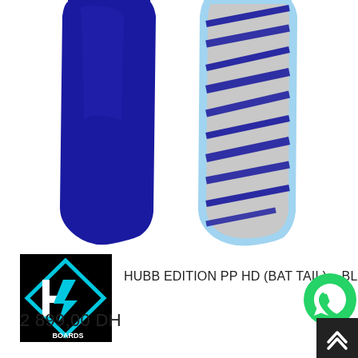[Figure (photo): Two bodyboards side by side on a white background. Left board is solid dark navy/royal blue. Right board has a light blue rail and silver/grey deck with dark blue diagonal zebra-stripe pattern.]
[Figure (logo): HB Boards logo: black square background with a cyan/teal diamond outline and stylized H and lightning-bolt shape inside. Text 'BOARDS' in white at bottom right.]
HUBB EDITION PP HD (BAT TAIL) – BLUE…
2 899,00 DH